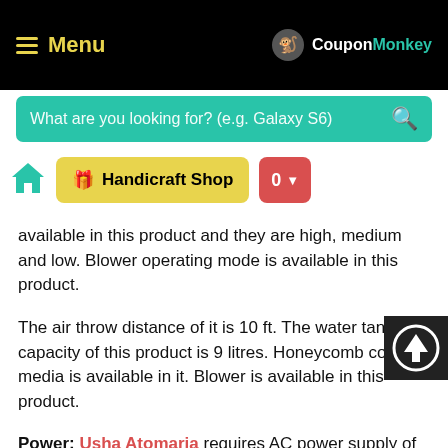Menu | CouponMonkey
available in this product and they are high, medium and low. Blower operating mode is available in this product.
The air throw distance of it is 10 ft. The water tank capacity of this product is 9 litres. Honeycomb cooling media is available in it. Blower is available in this product.
Power: Usha Atomaria requires AC power supply of